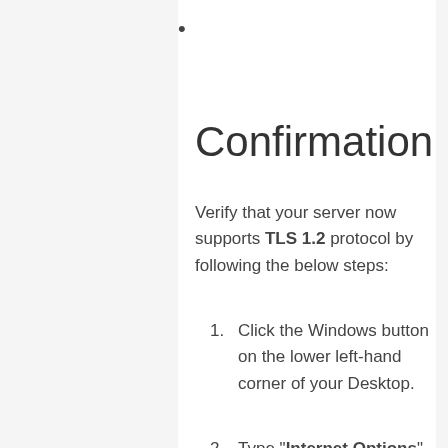•
Confirmation
Verify that your server now supports TLS 1.2 protocol by following the below steps:
1. Click the Windows button on the lower left-hand corner of your Desktop.
2. Type "Internet Options" and select Internet Options from the list.
3. Click on the Advanced tab and from there scroll down to